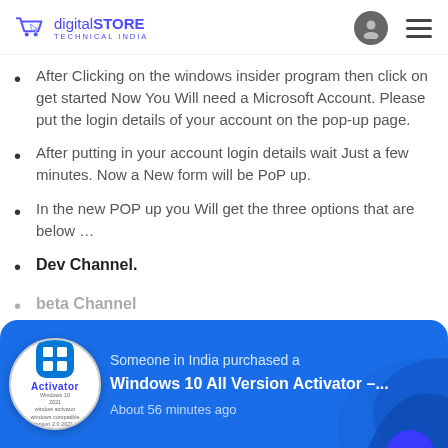digitalSTORE TECHNICAL INDIA
After Clicking on the windows insider program then click on get started Now You Will need a Microsoft Account. Please put the login details of your account on the pop-up page.
After putting in your account login details wait Just a few minutes. Now a New form will be PoP up.
In the new POP up you Will get the three options that are below …
Dev Channel.
beta Channel
[Figure (infographic): Popup notification banner: 'Someone in India purchased a Windows 10 All Version Activator –... About 56 minutes ago' with Windows Activator product image on left and wave decoration on right.]
after it Please restart your system